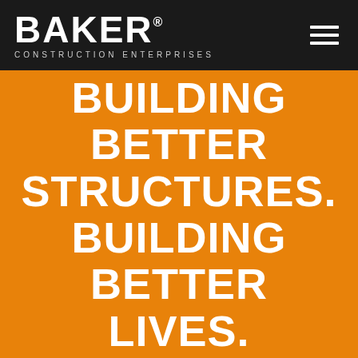[Figure (logo): Baker Construction Enterprises logo in white text on black background header bar, with hamburger menu icon on the right]
BUILDING BETTER STRUCTURES. BUILDING BETTER LIVES.